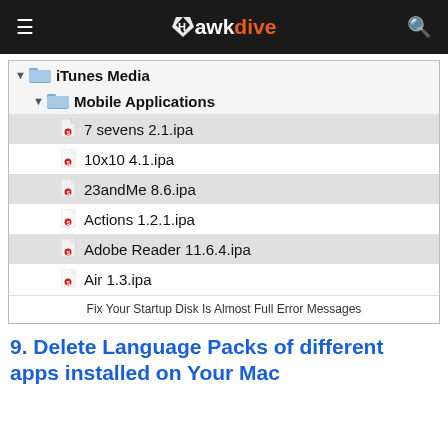Hawkdive
[Figure (screenshot): macOS Finder window showing iTunes Media folder expanded to Mobile Applications, listing .ipa files: 7 sevens 2.1.ipa, 10x10 4.1.ipa, 23andMe 8.6.ipa, Actions 1.2.1.ipa, Adobe Reader 11.6.4.ipa, Air 1.3.ipa]
Fix Your Startup Disk Is Almost Full Error Messages
9. Delete Language Packs of different apps installed on Your Mac